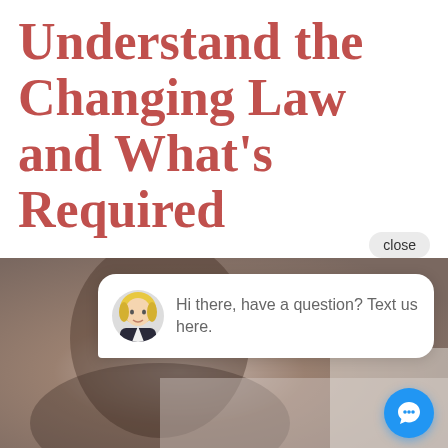Understand the Changing Law and What's Required
[Figure (screenshot): Chat widget overlay with close button, avatar of a blonde woman in a suit, and message 'Hi there, have a question? Text us here.' with a blue chat FAB button, overlaying a blurred photo of a person at a desk]
close
Hi there, have a question? Text us here.